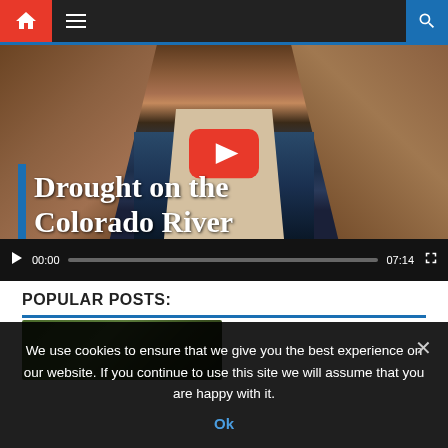Navigation bar with home, menu, and search icons
[Figure (screenshot): YouTube video player showing 'Drought on the Colorado River' with a Hoover Dam background image. Video time shows 00:00 / 07:14. Large red YouTube play button visible in center.]
POPULAR POSTS:
[Figure (photo): Thumbnail image strip showing green/outdoor landscape]
We use cookies to ensure that we give you the best experience on our website. If you continue to use this site we will assume that you are happy with it.
Ok